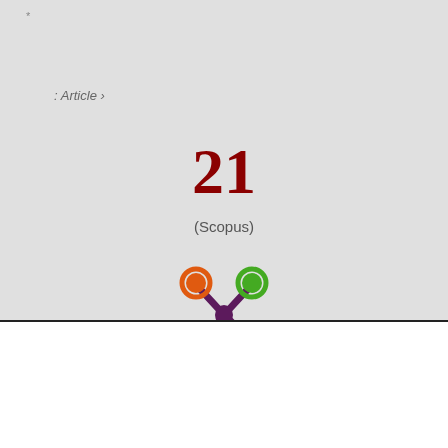*
: Article ›
21
(Scopus)
[Figure (logo): Altmetric-style logo with orange, green and purple circles connected by a dark purple splat/asterisk shape]
Cookie
Cookie